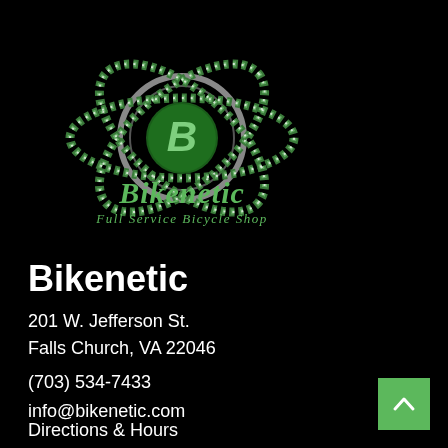[Figure (logo): Bikenetic logo: atomic/bicycle chain symbol with a B in center, green and white on black, with 'Bikenetic' and 'Full Service Bicycle Shop' text below in green italic script]
Bikenetic
201 W. Jefferson St.
Falls Church, VA 22046
(703) 534-7433
info@bikenetic.com
Directions & Hours